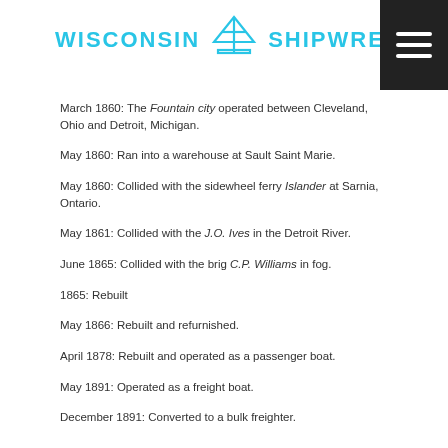[Figure (logo): Wisconsin Shipwrecks logo with cyan text and anchor/boat icon]
March 1860: The Fountain city operated between Cleveland, Ohio and Detroit, Michigan.
May 1860: Ran into a warehouse at Sault Saint Marie.
May 1860: Collided with the sidewheel ferry Islander at Sarnia, Ontario.
May 1861: Collided with the J.O. Ives in the Detroit River.
June 1865: Collided with the brig C.P. Williams in fog.
1865: Rebuilt
May 1866: Rebuilt and refurnished.
April 1878: Rebuilt and operated as a passenger boat.
May 1891: Operated as a freight boat.
December 1891: Converted to a bulk freighter.